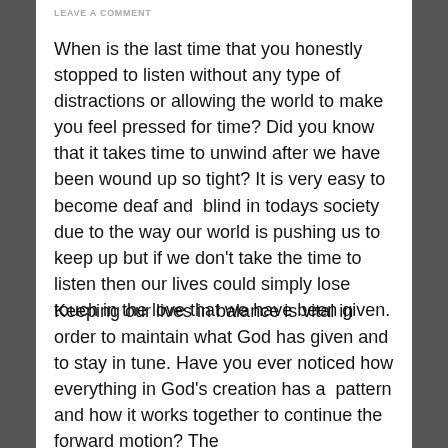LEAVE A COMMENT
When is the last time that you honestly stopped to listen without any type of distractions or allowing the world to make you feel pressed for time? Did you know that it takes time to unwind after we have been wound up so tight? It is very easy to become deaf and  blind in todays society due to the way our world is pushing us to keep up but if we don't take the time to listen then our lives could simply lose touch in the love that we have been given.
Keeping our lives in balance is vital in order to maintain what God has given and to stay in tune. Have you ever noticed how everything in God's creation has a  pattern and how it works together to continue the forward motion? The